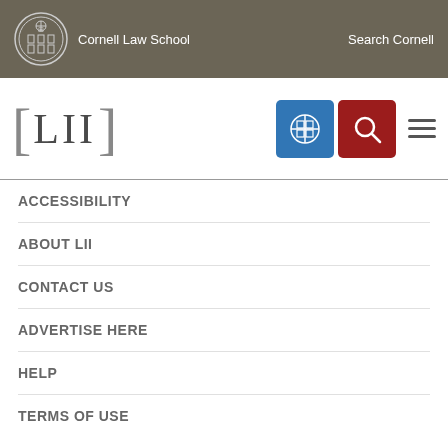Cornell Law School | Search Cornell
[Figure (logo): LII Legal Information Institute logo with Cornell Law School branding, navigation icons (gift/grid blue button and search red button), and hamburger menu]
ACCESSIBILITY
ABOUT LII
CONTACT US
ADVERTISE HERE
HELP
TERMS OF USE